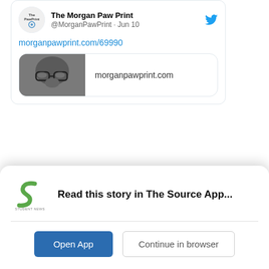[Figure (screenshot): Partial Twitter/X tweet card showing The Morgan Paw Print account (@MorganPawPrint · Jun 10) with a link morganpawprint.com/69990 and a link preview thumbnail showing a person's face with glasses and the domain morganpawprint.com]
Read this story in The Source App...
Open App
Continue in browser